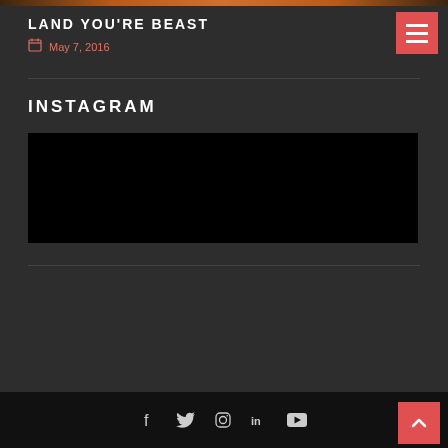[Figure (other): Top decorative bar with dark orange/brown gradient]
LAND YOU'RE BEAST
May 7, 2016
[Figure (other): Hamburger menu button (three horizontal lines) with salmon/red background, top right corner]
INSTAGRAM
[Figure (photo): Black rectangle Instagram embed area]
Social media icons: Facebook, Twitter, Instagram, LinkedIn, YouTube. Back to top arrow button bottom right.